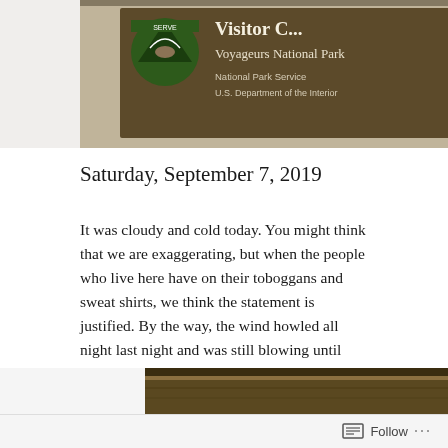[Figure (photo): Visitor center sign for Voyageurs National Park, National Park Service, U.S. Department of the Interior, with National Park Service arrowhead logo, brown sign with white/light text, stone wall in background]
Saturday, September 7, 2019
It was cloudy and cold today. You might think that we are exaggerating, but when the people who live here have on their toboggans and sweat shirts, we think the statement is justified. By the way, the wind howled all night last night and was still blowing until dark today. This evening the temperature was 38 degrees cooler that back in Alabama.
[Figure (photo): Bottom portion of a dark/golden-toned photograph, partially visible at bottom of page]
Follow